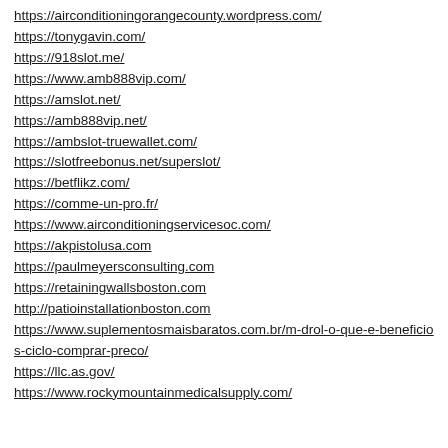https://airconditioningorangecounty.wordpress.com/
https://tonygavin.com/
https://918slot.me/
https://www.amb888vip.com/
https://amslot.net/
https://amb888vip.net/
https://ambslot-truewallet.com/
https://slotfreebonus.net/superslot/
https://betflikz.com/
https://comme-un-pro.fr/
https://www.airconditioningservicesoc.com/
https://akpistolusa.com
https://paulmeyersconsulting.com
https://retainingwallsboston.com
http://patioinstallationboston.com
https://www.suplementosmaisbaratos.com.br/m-drol-o-que-e-beneficios-ciclo-comprar-preco/
https://llc.as.gov/
https://www.rockymountainmedicalsupply.com/